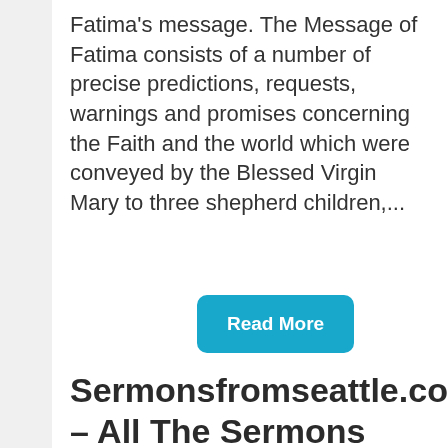Fatima's message. The Message of Fatima consists of a number of precise predictions, requests, warnings and promises concerning the Faith and the world which were conveyed by the Blessed Virgin Mary to three shepherd children,...
Read More
Sermonsfromseattle.com – All The Sermons From Seattle